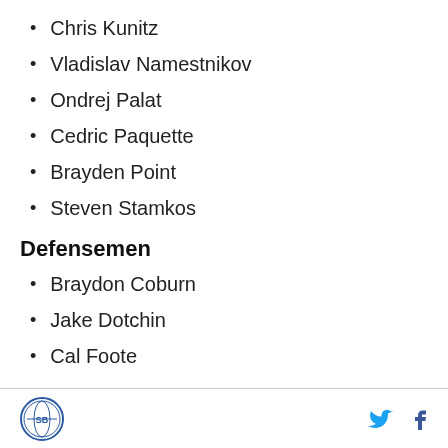Chris Kunitz
Vladislav Namestnikov
Ondrej Palat
Cedric Paquette
Brayden Point
Steven Stamkos
Defensemen
Braydon Coburn
Jake Dotchin
Cal Foote
Logo | Twitter | Facebook